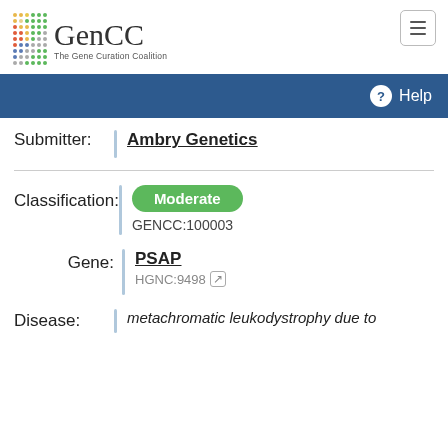[Figure (logo): GenCC - The Gene Curation Coalition logo with colorful dot grid and text]
Help
Submitter: Ambry Genetics
Classification: Moderate
GENCC:100003
Gene: PSAP
HGNC:9498
Disease: metachromatic leukodystrophy due to...